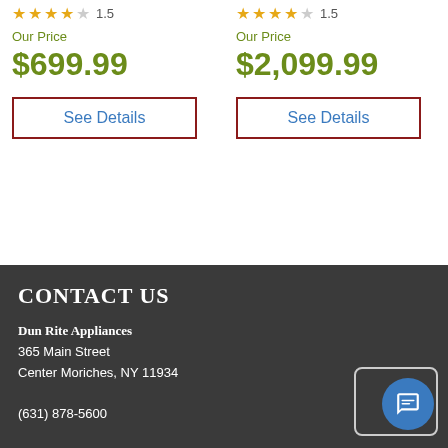Our Price $699.99
See Details
Our Price $2,099.99
See Details
CONTACT US
Dun Rite Appliances
365 Main Street
Center Moriches, NY 11934

(631) 878-5600

dunriteappliance@yahoo.com